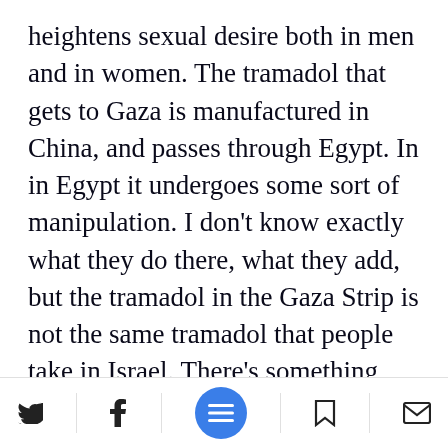heightens sexual desire both in men and in women. The tramadol that gets to Gaza is manufactured in China, and passes through Egypt. In in Egypt it undergoes some sort of manipulation. I don't know exactly what they do there, what they add, but the tramadol in the Gaza Strip is not the same tramadol that people take in Israel. There's something else. It's extremely addictive and it affects behavior.
They probably add an amphetamine.
'The first step is... ating people